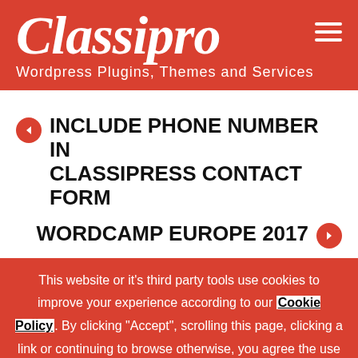Classipro — Wordpress Plugins, Themes and Services
INCLUDE PHONE NUMBER IN CLASSIPRESS CONTACT FORM
WORDCAMP EUROPE 2017
This website or it's third party tools use cookies to improve your experience according to our Cookie Policy. By clicking "Accept", scrolling this page, clicking a link or continuing to browse otherwise, you agree the use of cookies.